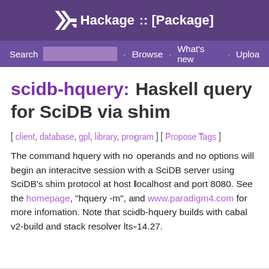Hackage :: [Package]
Search · Browse · What's new · Upload
scidb-hquery: Haskell query for SciDB via shim
[ client, database, gpl, library, program ] [ Propose Tags ]
The command hquery with no operands and no options will begin an interacitve session with a SciDB server using SciDB's shim protocol at host localhost and port 8080. See the homepage, "hquery -m", and www.paradigm4.com for more infomation. Note that scidb-hquery builds with cabal v2-build and stack resolver lts-14.27.